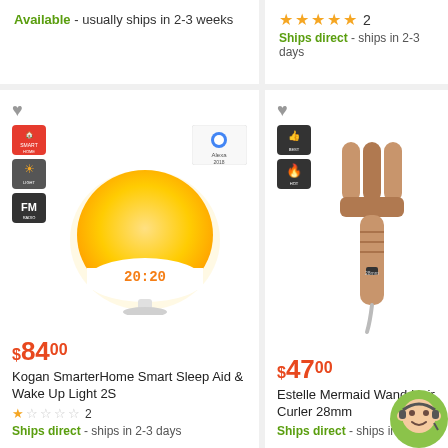Available - usually ships in 2-3 weeks
★★★★★ 2
Ships direct - ships in 2-3 days
[Figure (photo): Kogan SmarterHome Smart Sleep Aid & Wake Up Light 2S product image with feature badges]
$84.00
Kogan SmarterHome Smart Sleep Aid & Wake Up Light 2S
★☆☆☆☆ 2
Ships direct - ships in 2-3 days
[Figure (photo): Estelle Mermaid Wand Hair Curler 28mm product image with feature badges]
$47.00
Estelle Mermaid Wand Hair Curler 28mm
Ships direct - ships in 2-3